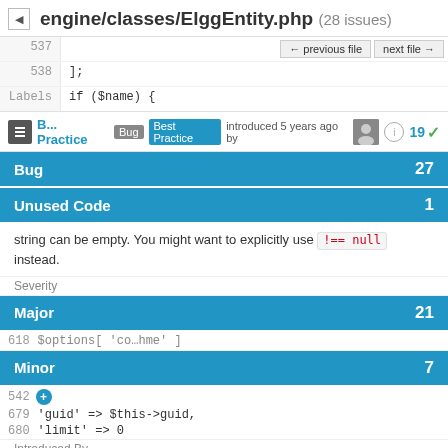engine/classes/ElggEntity.php (28 issues)
537
538
539 (Labels)
];  if ($name) {
Bug Best Practice introduced 5 years ago by
19
Bug 27
Unused Code 1
string can be empty. You might want to explicitly use !== null instead.
Severity
Major 21
Minor 7
542
679  'guid' => $this->guid,
680  'limit' => 0
Introduced By
Brett Profitt 12